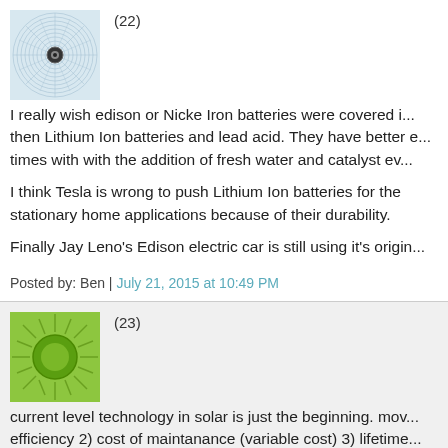[Figure (illustration): Blue/gray circular avatar with concentric spiral pattern and target-like center dot]
(22)
I really wish edison or Nicke Iron batteries were covered i... then Lithium Ion batteries and lead acid. They have better e... times with with the addition of fresh water and catalyst ev...
I think Tesla is wrong to push Lithium Ion batteries for the stationary home applications because of their durability.
Finally Jay Leno's Edison electric car is still using it's origin...
Posted by: Ben | July 21, 2015 at 10:49 PM
[Figure (illustration): Green square avatar with sunburst/starburst pattern and green circle center]
(23)
current level technology in solar is just the beginning. mov... efficiency 2) cost of maintanance (variable cost) 3) lifetime...
consider leaves are 1% solar efficient and green plant life h...
it is all about the underlying technology.
that said, current level solar technology cannot sustain an... we are still so completely backwards that you could elimin... and we'd be completely ok with relying on coal and existing...